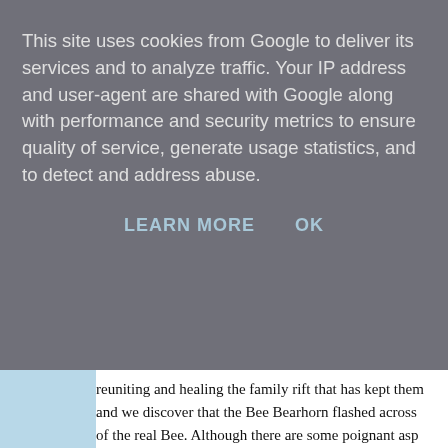This site uses cookies from Google to deliver its services and to analyze traffic. Your IP address and user-agent are shared with Google along with performance and security metrics to ensure quality of service, generate usage statistics, and to detect and address abuse.
LEARN MORE   OK
reuniting and healing the family rift that has kept them and we discover that the Bee Bearhorn flashed across of the real Bee. Although there are some poignant asp light read with a host of engaging characters. On the s life character, which is the complete opposite of her sis that in the beginning she feels more like a shadow tha her grow as the book progressed. Not only does Ana c begins to find out who she is, which gives the book an
Lisa Jewell has a real knack of creating vibrant charac who you wish you could meet in real life. Bee's best fri while she can be loud and brash, she is also fiercely lo and loves being the centre of attention but she isn't a b warmth about her. And then there's Flint, the hero of...